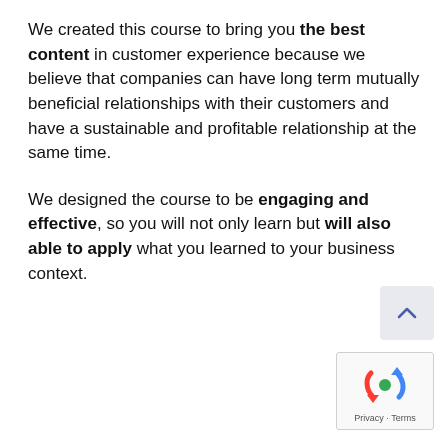We created this course to bring you the best content in customer experience because we believe that companies can have long term mutually beneficial relationships with their customers and have a sustainable and profitable relationship at the same time.
We designed the course to be engaging and effective, so you will not only learn but will also able to apply what you learned to your business context.
[Figure (other): Scroll-to-top button with upward chevron arrow on light blue-grey background]
[Figure (other): Google reCAPTCHA widget with rotating arrows logo and Privacy - Terms footer text]